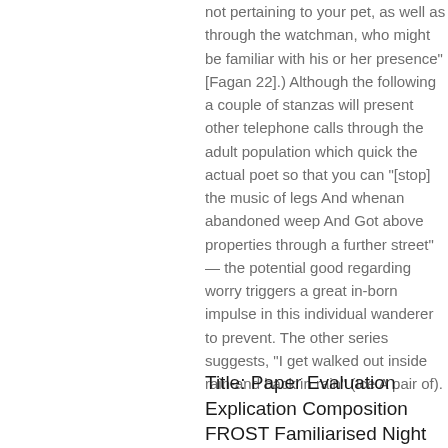not pertaining to your pet, as well as through the watchman, who might be familiar with his or her presence" [Fagan 22].) Although the following a couple of stanzas will present other telephone calls through the adult population which quick the actual poet so that you can "[stop] the music of legs And whenan abandoned weep And Got above properties through a further street" — the potential good regarding worry triggers a great in-born impulse in this individual wanderer to prevent. The other series suggests, "I get walked out inside rain-and back in rain" (Ice A pair of).
Title: Paper Evaluation Explication Composition FROST Familiarised Night time 1000 term composition methods a